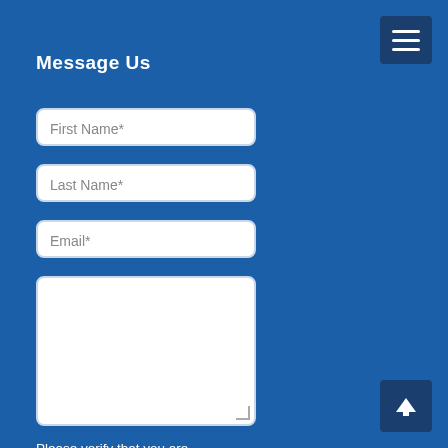Message Us
[Figure (screenshot): Hamburger navigation menu button in dark blue, top right corner]
First Name*
Last Name*
Email*
[Figure (screenshot): Textarea input field (empty, with resize handle)]
Please verify that you are human
[Figure (screenshot): CAPTCHA widget with loading spinner and reCAPTCHA logo]
[Figure (screenshot): Back to top arrow button in dark blue, bottom right corner]